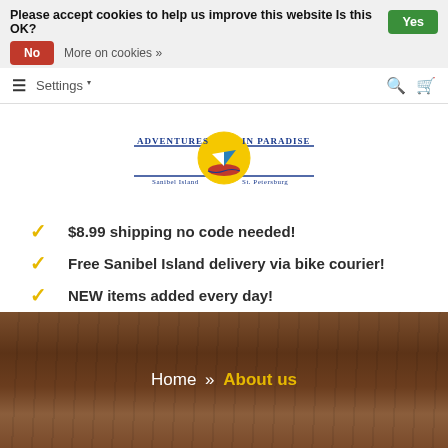Please accept cookies to help us improve this website Is this OK?
Yes
No
More on cookies »
Settings
[Figure (logo): Adventures in Paradise logo with sailboat graphic, subtitle: Sanibel Island / St. Petersburg]
$8.99 shipping no code needed!
Free Sanibel Island delivery via bike courier!
NEW items added every day!
Home » About us